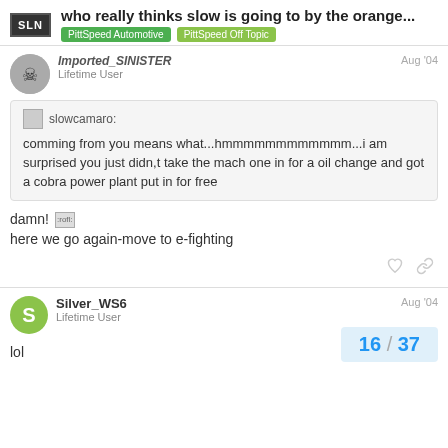who really thinks slow is going to by the orange... | PittSpeed Automotive | PittSpeed Off Topic
Imported_SINISTER
Lifetime User
Aug '04
slowcamaro:
comming from you means what...hmmmmmmmmmmmm...i am surprised you just didn,t take the mach one in for a oil change and got a cobra power plant put in for free
damn! :rofl:
here we go again-move to e-fighting
Silver_WS6
Lifetime User
Aug '04
lol
16 / 37